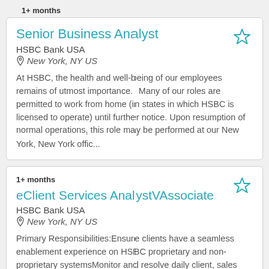1+ months
Senior Business Analyst
HSBC Bank USA
New York, NY US
At HSBC, the health and well-being of our employees remains of utmost importance.  Many of our roles are permitted to work from home (in states in which HSBC is licensed to operate) until further notice. Upon resumption of normal operations, this role may be performed at our New York, New York offic...
1+ months
eClient Services AnalystVAssociate
HSBC Bank USA
New York, NY US
Primary Responsibilities:Ensure clients have a seamless enablement experience on HSBC proprietary and non-proprietary systemsMonitor and resolve daily client, sales and trading issues related to various Distribution Platforms, not limited to: Exchanges, the Multi...